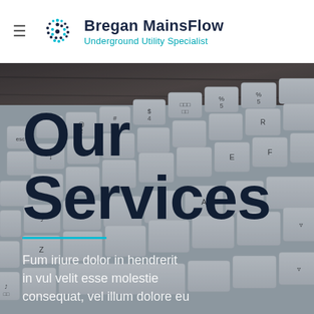Bregan MainsFlow — Underground Utility Specialist
[Figure (photo): Close-up photograph of a silver/white keyboard with keys visible, placed on a dark wooden surface, used as a hero background image for the services page]
Our Services
Fum iriure dolor in hendrerit in vul velit esse molestie consequat, vel illum dolore eu